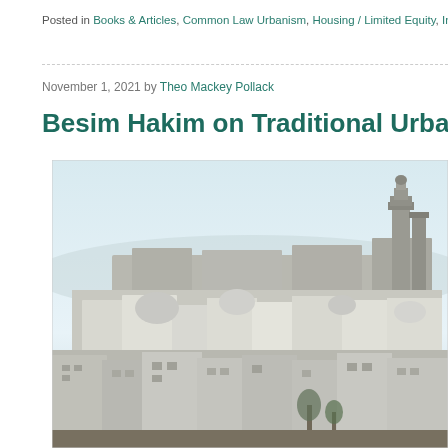Posted in Books & Articles, Common Law Urbanism, Housing / Limited Equity, Indivi…
November 1, 2021 by Theo Mackey Pollack
Besim Hakim on Traditional Urban Growth…
[Figure (photo): Black and white aerial/elevated photograph of a traditional North African or Middle Eastern medina cityscape with white cubic buildings, domes, and a minaret tower visible against a light sky.]